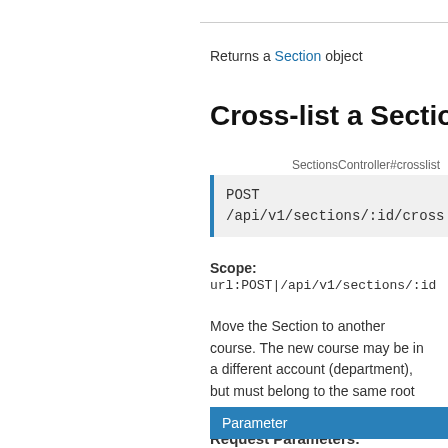Returns a Section object
Cross-list a Section
SectionsController#crosslist
POST /api/v1/sections/:id/cross
Scope:
url:POST|/api/v1/sections/:id
Move the Section to another course. The new course may be in a different account (department), but must belong to the same root account (institution).
Request Parameters:
| Parameter |
| --- |
| override_sis_stickiness |